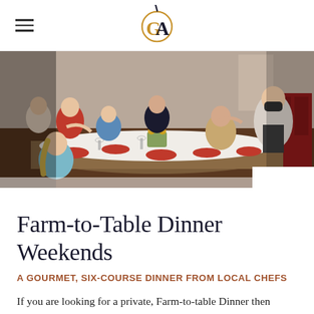GA (Galvanized America Inn & Art Gallery logo)
[Figure (photo): Group of people seated around a long dinner table with red place settings, flowers, and candles. A masked server is attending guests. Warm, festive atmosphere.]
Farm-to-Table Dinner Weekends
A GOURMET, SIX-COURSE DINNER FROM LOCAL CHEFS
If you are looking for a private, Farm-to-table Dinner then Galvanized America Inn & Art Gallery has you